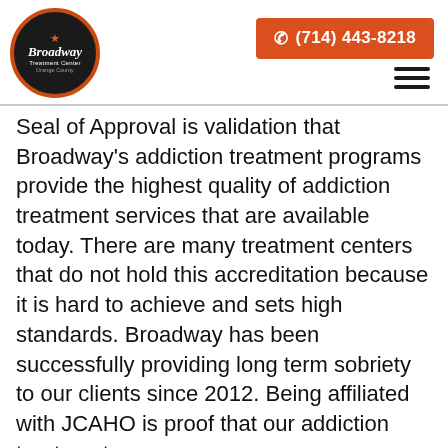[Figure (logo): Broadway Treatment Center Orange County circular logo with orange border on dark background]
(714) 443-8218
Seal of Approval is validation that Broadway's addiction treatment programs provide the highest quality of addiction treatment services that are available today. There are many treatment centers that do not hold this accreditation because it is hard to achieve and sets high standards. Broadway has been successfully providing long term sobriety to our clients since 2012. Being affiliated with JCAHO is proof that our addiction treatment programs are some